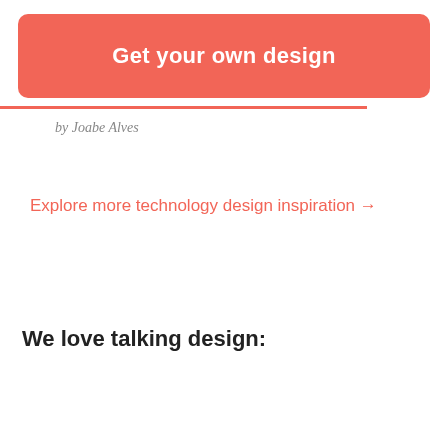[Figure (other): Salmon/coral colored rounded rectangle button banner with white bold text 'Get your own design']
by Joabe Alves
Explore more technology design inspiration →
We love talking design: